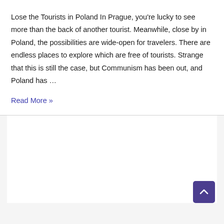Lose the Tourists in Poland In Prague, you're lucky to see more than the back of another tourist. Meanwhile, close by in Poland, the possibilities are wide-open for travelers. There are endless places to explore which are free of tourists. Strange that this is still the case, but Communism has been out, and Poland has …
Read More »